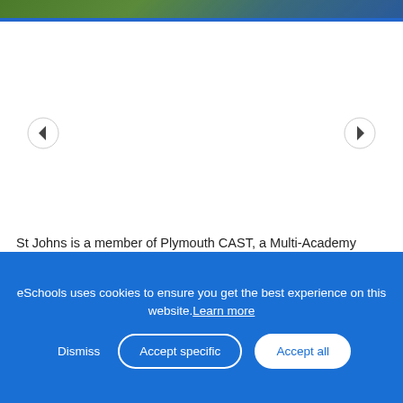[Figure (photo): Partial photo strip at top of page showing outdoor scene with trees and blue sky]
[Figure (illustration): Left navigation arrow button (circle with left-pointing triangle)]
[Figure (illustration): Right navigation arrow button (circle with right-pointing triangle)]
St Johns is a member of Plymouth CAST, a Multi-Academy Trust set up in the Diocese of Plymouth to create a more secure environment. This is so that the 35 schools that are part of the Trust can serve the mission of the Catholic and Anglican Trust.
eSchools uses cookies to ensure you get the best experience on this website. Learn more
Dismiss
Accept specific
Accept all